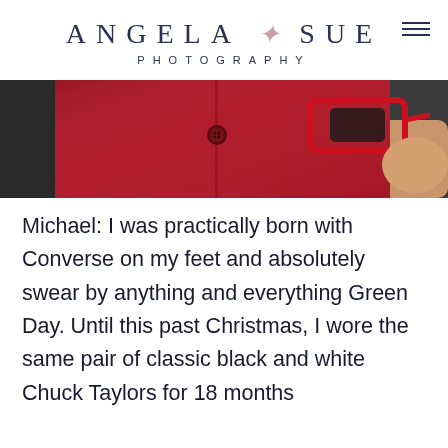ANGELA SUE PHOTOGRAPHY
[Figure (photo): Close-up photo of a person wearing a red button-up shirt and holding red-framed sunglasses, with a black t-shirt visible underneath]
Michael: I was practically born with Converse on my feet and absolutely swear by anything and everything Green Day. Until this past Christmas, I wore the same pair of classic black and white Chuck Taylors for 18 months